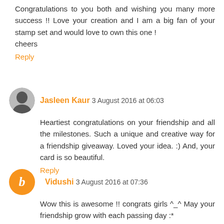Congratulations to you both and wishing you many more success !! Love your creation and I am a big fan of your stamp set and would love to own this one !
cheers
Reply
Jasleen Kaur  3 August 2016 at 06:03
Heartiest congratulations on your friendship and all the milestones. Such a unique and creative way for a friendship giveaway. Loved your idea. :) And, your card is so beautiful.
Reply
Vidushi  3 August 2016 at 07:36
Wow this is awesome !! congrats girls ^_^ May your friendship grow with each passing day :*
Reply